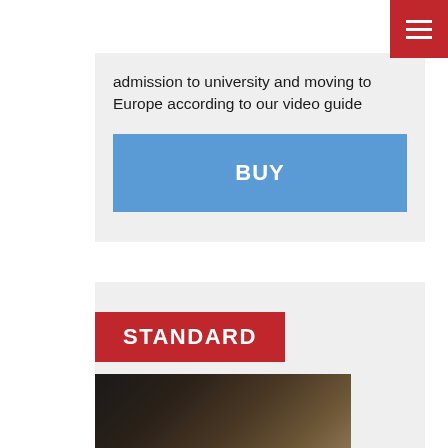[Figure (other): Red hamburger menu button in top-right corner]
admission to university and moving to Europe according to our video guide
BUY
STANDARD
[Figure (photo): Blurred thumbnail image of a person, used as video preview]